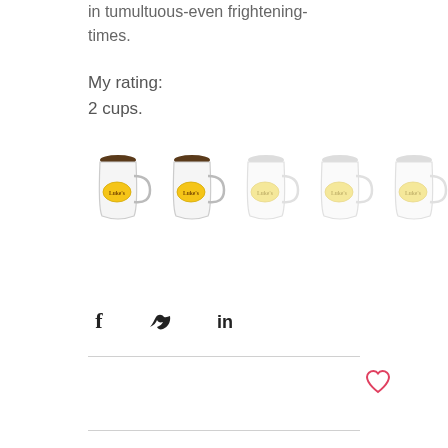in tumultuous-even frightening-times.
My rating:
2 cups.
[Figure (illustration): Five Luke's Diner coffee mugs in a row; first two fully colored (dark top, yellow logo), last three faded/greyed out, representing a 2-out-of-5 cup rating.]
[Figure (infographic): Social share icons: Facebook (f), Twitter (bird), LinkedIn (in)]
[Figure (illustration): Heart (like) icon in red outline on the right side]